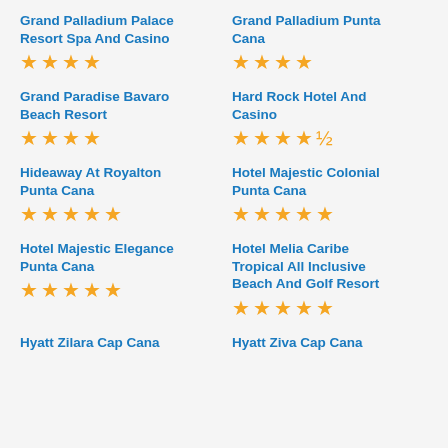Grand Palladium Palace Resort Spa And Casino ★★★★
Grand Palladium Punta Cana ★★★★
Grand Paradise Bavaro Beach Resort ★★★★
Hard Rock Hotel And Casino ★★★★½
Hideaway At Royalton Punta Cana ★★★★★
Hotel Majestic Colonial Punta Cana ★★★★★
Hotel Majestic Elegance Punta Cana ★★★★★
Hotel Melia Caribe Tropical All Inclusive Beach And Golf Resort ★★★★★
Hyatt Zilara Cap Cana
Hyatt Ziva Cap Cana